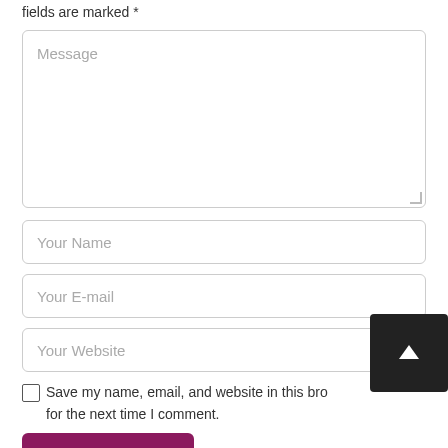fields are marked *
[Figure (screenshot): Message textarea input field with placeholder text 'Message' and resize handle]
[Figure (screenshot): Text input field with placeholder 'Your Name']
[Figure (screenshot): Text input field with placeholder 'Your E-mail']
[Figure (screenshot): Text input field with placeholder 'Your Website']
Save my name, email, and website in this bro for the next time I comment.
[Figure (screenshot): Dark scroll-to-top button with arrow icon]
[Figure (screenshot): Purple/magenta submit button (partially visible)]